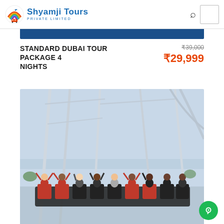Shyamji Tours PRIVATE LIMITED
STANDARD DUBAI TOUR PACKAGE 4 NIGHTS
₹39,000 ₹29,999
[Figure (photo): People riding a roller coaster at Ferrari World Abu Dhabi, arms raised, against a backdrop of the ride structure and cityscape.]